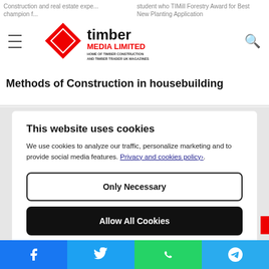Construction and real estate experts...champion...
[Figure (logo): Timber Media Limited logo - red diamond shape with text 'timber MEDIA LIMITED - HOME OF TIMBER CONSTRUCTION AND TIMBER TRADER UK MAGAZINES']
Methods of Construction in housebuilding
This website uses cookies

We use cookies to analyze our traffic, personalize marketing and to provide social media features. Privacy and cookies policy›.
Only Necessary
Allow All Cookies
Configure Settings›
Facebook | Twitter | WhatsApp | Telegram social share bar